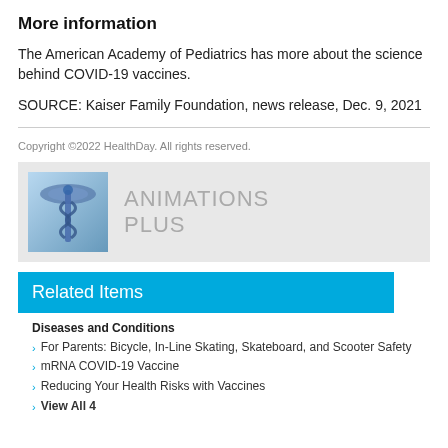More information
The American Academy of Pediatrics has more about the science behind COVID-19 vaccines.
SOURCE: Kaiser Family Foundation, news release, Dec. 9, 2021
Copyright ©2022 HealthDay. All rights reserved.
[Figure (illustration): Animations Plus banner with a medical caduceus image on the left and the text 'ANIMATIONS PLUS' in large grey letters on the right, on a light grey background.]
Related Items
Diseases and Conditions
For Parents: Bicycle, In-Line Skating, Skateboard, and Scooter Safety
mRNA COVID-19 Vaccine
Reducing Your Health Risks with Vaccines
View All 4